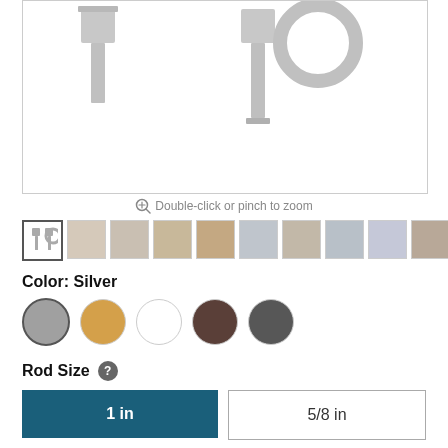[Figure (photo): Product photo of curtain rod brackets on white background — two metal bracket components shown in silver/grey finish]
Double-click or pinch to zoom
[Figure (photo): Row of 10 product thumbnail images showing curtain rod brackets and room settings]
Color: Silver
[Figure (other): Five color swatch circles: Silver (selected), Gold, White, Brown, Charcoal]
Rod Size
1 in
5/8 in